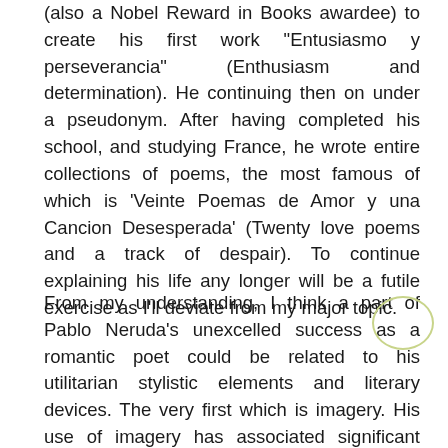(also a Nobel Reward in Books awardee) to create his first work "Entusiasmo y perseverancia" (Enthusiasm and determination). He continuing then on under a pseudonym. After having completed his school, and studying France, he wrote entire collections of poems, the most famous of which is 'Veinte Poemas de Amor y una Cancion Desesperada' (Twenty love poems and a track of despair). To continue explaining his life any longer will be a futile exercise as I'll deviate from my major topic.
From my understanding, I think a part of Pablo Neruda's unexcelled success as a romantic poet could be related to his utilitarian stylistic elements and literary devices. The very first which is imagery. His use of imagery has associated significant facets of aspect to his personal poetic experience and this gives the reader something interesting. A lot more than experience, it is his feelings that talk amounts. The fact that he found and embraced